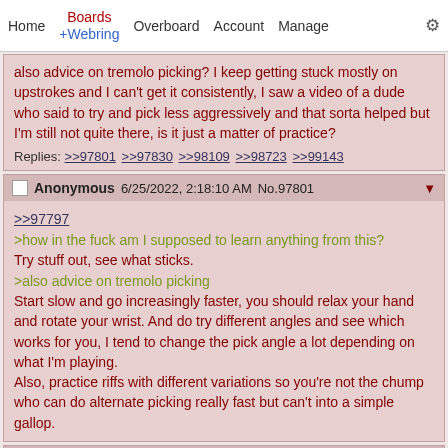Home  Boards +Webring  Overboard  Account  Manage  ⚙
also advice on tremolo picking? I keep getting stuck mostly on upstrokes and I can't get it consistently, I saw a video of a dude who said to try and pick less aggressively and that sorta helped but I'm still not quite there, is it just a matter of practice?
Replies: >>97801 >>97830 >>98109 >>98723 >>99143
Anonymous 6/25/2022, 2:18:10 AM No.97801
>>97797
>how in the fuck am I supposed to learn anything from this?
Try stuff out, see what sticks.
>also advice on tremolo picking
Start slow and go increasingly faster, you should relax your hand and rotate your wrist. And do try different angles and see which works for you, I tend to change the pick angle a lot depending on what I'm playing.
Also, practice riffs with different variations so you're not the chump who can do alternate picking really fast but can't into a simple gallop.
Anonymous 6/25/2022, 9:15:59 AM No.97830
>>97797
When it comes to tremolo picking and alternate picking in